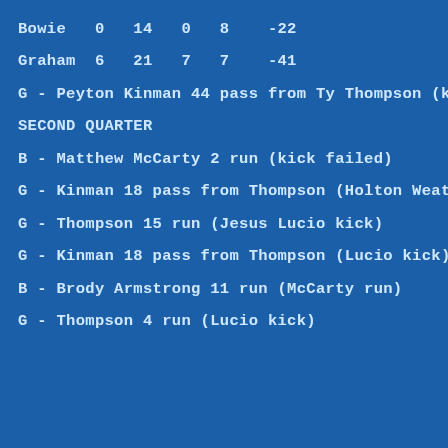Bowie   0   14   0   8    -22
Graham  6   21   7   7    -41
G - Peyton Kinman 44 pass from Ty Thompson (kick faile
SECOND QUARTER
B - Matthew McCarty 2 run (kick failed)
G - Kinman 18 pass from Thompson (Holton Weatherman ki
G - Thompson 15 run (Jesus Lucio kick)
G - Kinman 18 pass from Thompson (Lucio kick)
B - Brody Armstrong 11 run (McCarty run)
G - Thompson 4 run (Lucio kick)